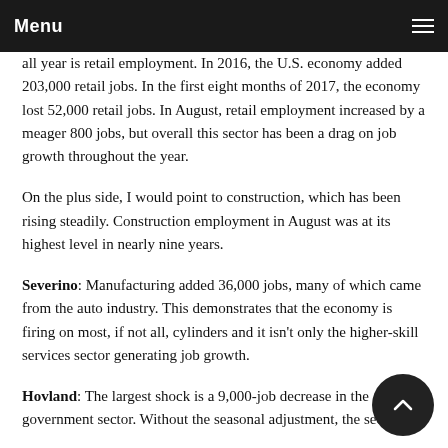Menu
all year is retail employment. In 2016, the U.S. economy added 203,000 retail jobs. In the first eight months of 2017, the economy lost 52,000 retail jobs. In August, retail employment increased by a meager 800 jobs, but overall this sector has been a drag on job growth throughout the year.
On the plus side, I would point to construction, which has been rising steadily. Construction employment in August was at its highest level in nearly nine years.
Severino: Manufacturing added 36,000 jobs, many of which came from the auto industry. This demonstrates that the economy is firing on most, if not all, cylinders and it isn't only the higher-skill services sector generating job growth.
Hovland: The largest shock is a 9,000-job decrease in the government sector. Without the seasonal adjustment, the sector